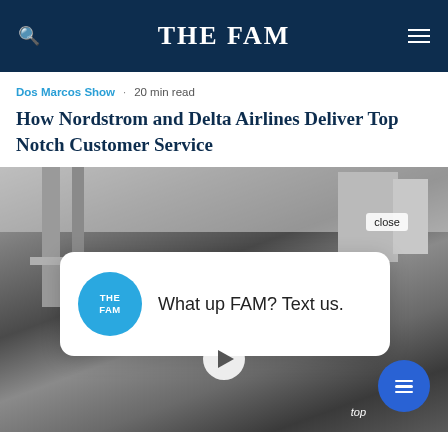THE FAM
Dos Marcos Show · 20 min read
How Nordstrom and Delta Airlines Deliver Top Notch Customer Service
[Figure (photo): Black and white photo of a city bridge and buildings, with a chat popup overlay reading 'What up FAM? Text us.' and a video play button. A blue chat bubble icon is visible in the bottom right.]